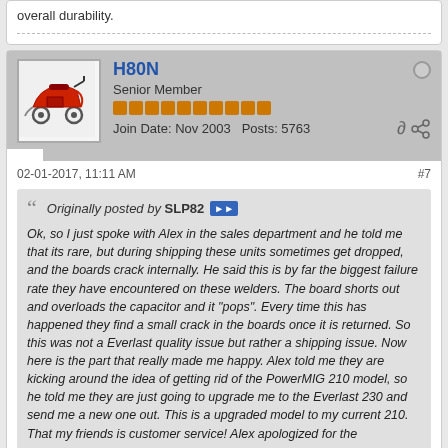overall durability.
H80N
Senior Member
Join Date: Nov 2003  Posts: 5763
02-01-2017, 11:11 AM  #7
Originally posted by SLP82
Ok, so I just spoke with Alex in the sales department and he told me that its rare, but during shipping these units sometimes get dropped, and the boards crack internally. He said this is by far the biggest failure rate they have encountered on these welders. The board shorts out and overloads the capacitor and it "pops". Every time this has happened they find a small crack in the boards once it is returned. So this was not a Everlast quality issue but rather a shipping issue. Now here is the part that really made me happy. Alex told me they are kicking around the idea of getting rid of the PowerMIG 210 model, so he told me they are just going to upgrade me to the Everlast 230 and send me a new one out. This is a upgraded model to my current 210. That my friends is customer service! Alex apologized for the